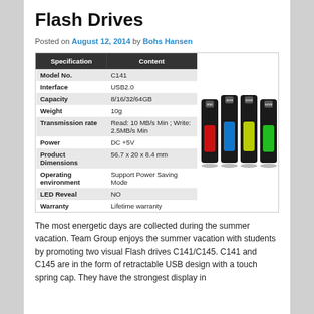Flash Drives
Posted on August 12, 2014 by Bohs Hansen
| Specification | Content |
| --- | --- |
| Model No. | C141 |
| Interface | USB2.0 |
| Capacity | 8/16/32/64GB |
| Weight | 10g |
| Transmission rate | Read: 10 MB/s Min ; Write: 2.5MB/s Min |
| Power | DC +5V |
| Product Dimensions | 56.7 x 20 x 8.4 mm |
| Operating environment | Support Power Saving Mode |
| LED Reveal | NO |
| Warranty | Lifetime warranty |
[Figure (photo): Four black USB flash drives with colored accents (red, blue, yellow/lime, green) displayed side by side]
The most energetic days are collected during the summer vacation. Team Group enjoys the summer vacation with students by promoting two visual Flash drives C141/C145. C141 and C145 are in the form of retractable USB design with a touch spring cap. They have the strongest display in